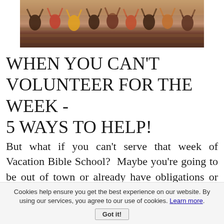[Figure (photo): Crowd of people with hands raised, viewed from behind, seated in rows — appears to be a large group gathering or church event]
WHEN YOU CAN'T VOLUNTEER FOR THE WEEK - 5 WAYS TO HELP!
But what if you can't serve that week of Vacation Bible School?  Maybe you're going to be out of town or already have obligations or bad health.
Cookies help ensure you get the best experience on our website. By using our services, you agree to our use of cookies. Learn more. Got it!